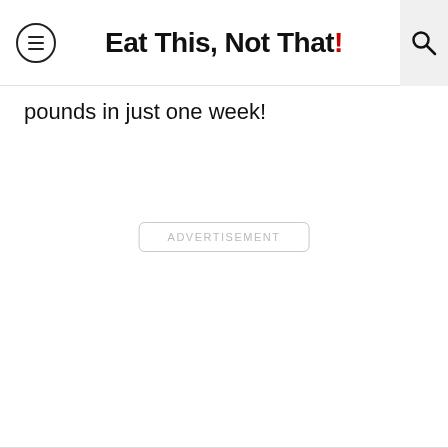Eat This, Not That!
pounds in just one week!
ADVERTISEMENT